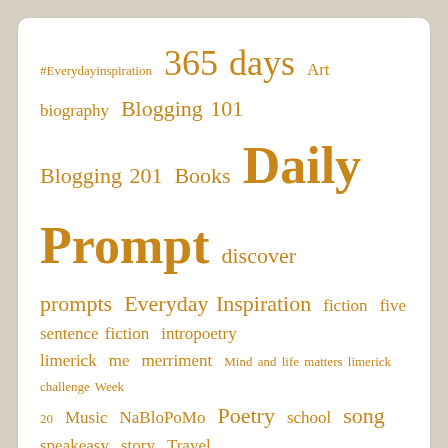[Figure (infographic): Tag cloud with various blog category tags in golden/amber color at different sizes. Tags include: #Everydayinspiration, 365 days, Art, biography, Blogging 101, Blogging 201, Books, Daily Prompt, discover prompts, Everyday Inspiration, fiction, five sentence fiction, intropoetry, limerick, me, merriment, Mind and life matters limerick challenge Week 20, Music, NaBloPoMo, Poetry, school, song, speakeasy, story, Travel, Uncategorized, writing, Writing 101, writing 201: poetry, writing intro to poetry]
Best Moment Award
[Figure (illustration): Dark background image with three yellow/gold stylized human figures — a tall central figure flanked by two smaller figures, resembling an award trophy design.]